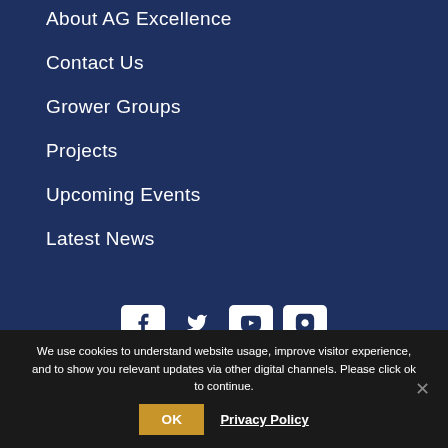About AG Excellence
Contact Us
Grower Groups
Projects
Upcoming Events
Latest News
[Figure (infographic): Social media icons row: Facebook, Twitter, YouTube, and one more platform icon, white on dark navy background]
We use cookies to understand website usage, improve visitor experience, and to show you relevant updates via other digital channels. Please click ok to continue.
OK  Privacy Policy